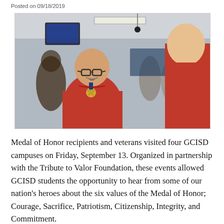Posted on 09/18/2019
[Figure (photo): An older bald man wearing a red polo shirt and Medal of Honor around his neck speaks with a young man in a red blazer in an indoor setting with other people in the background.]
Medal of Honor recipients and veterans visited four GCISD campuses on Friday, September 13. Organized in partnership with the Tribute to Valor Foundation, these events allowed GCISD students the opportunity to hear from some of our nation’s heroes about the six values of the Medal of Honor; Courage, Sacrifice, Patriotism, Citizenship, Integrity, and Commitment.